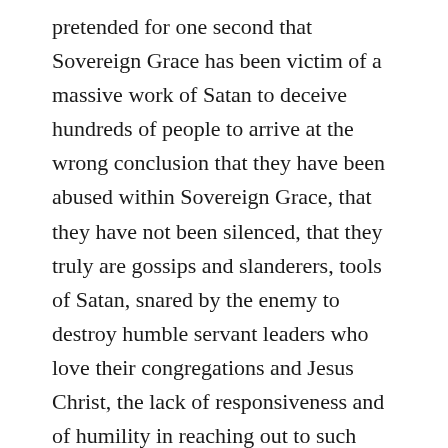pretended for one second that Sovereign Grace has been victim of a massive work of Satan to deceive hundreds of people to arrive at the wrong conclusion that they have been abused within Sovereign Grace, that they have not been silenced, that they truly are gossips and slanderers, tools of Satan, snared by the enemy to destroy humble servant leaders who love their congregations and Jesus Christ, the lack of responsiveness and of humility in reaching out to such “tools of Satan” shows a different story. The degree of abuse that has been covered up is unreal. I have email correspondence where we are explicitly told to not read the accounts of people exposing things to light and discouraging our congregations from reading it. It is impossible for me to separate Behold Our God or Jesus, Thank You or any of those beloved songs from this massive mess. Even if it were all made up, I would expect